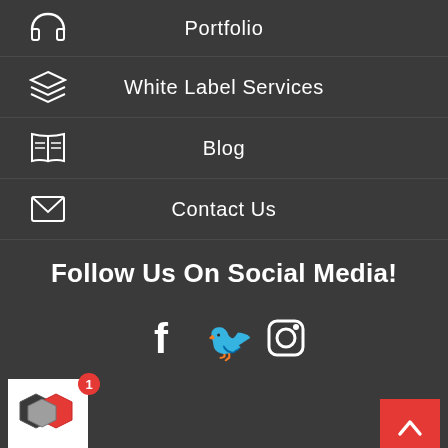Portfolio
White Label Services
Blog
Contact Us
Follow Us On Social Media!
[Figure (logo): Social media icons: Facebook, Twitter, Instagram]
[Figure (logo): Company logo with hexagon design in red and dark grey, with notification badge showing 1]
[Figure (other): Red back-to-top button with upward chevron arrow]